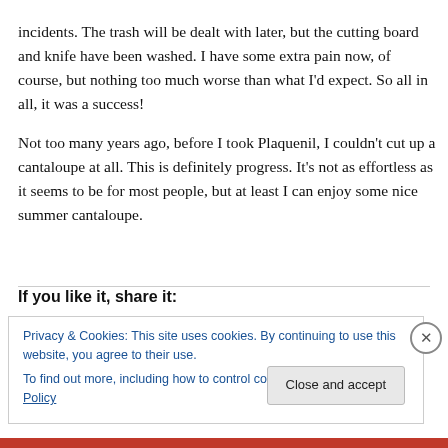incidents. The trash will be dealt with later, but the cutting board and knife have been washed. I have some extra pain now, of course, but nothing too much worse than what I'd expect. So all in all, it was a success!
Not too many years ago, before I took Plaquenil, I couldn't cut up a cantaloupe at all. This is definitely progress. It's not as effortless as it seems to be for most people, but at least I can enjoy some nice summer cantaloupe.
If you like it, share it:
Privacy & Cookies: This site uses cookies. By continuing to use this website, you agree to their use.
To find out more, including how to control cookies, see here: Cookie Policy